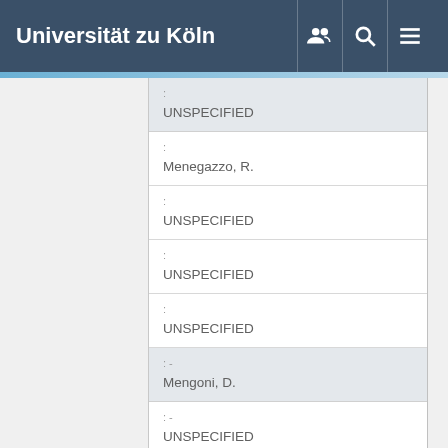Universität zu Köln
| label | value |
| --- | --- |
| : | UNSPECIFIED |
| : | Menegazzo, R. |
| : | UNSPECIFIED |
| : | UNSPECIFIED |
| : | UNSPECIFIED |
| :- | Mengoni, D. |
| :- | UNSPECIFIED |
| : | UNSPECIFIED |